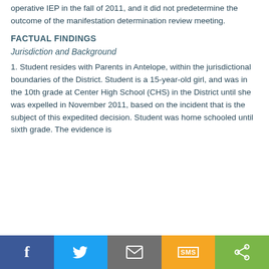operative IEP in the fall of 2011, and it did not predetermine the outcome of the manifestation determination review meeting.
FACTUAL FINDINGS
Jurisdiction and Background
1. Student resides with Parents in Antelope, within the jurisdictional boundaries of the District. Student is a 15-year-old girl, and was in the 10th grade at Center High School (CHS) in the District until she was expelled in November 2011, based on the incident that is the subject of this expedited decision. Student was home schooled until sixth grade. The evidence is